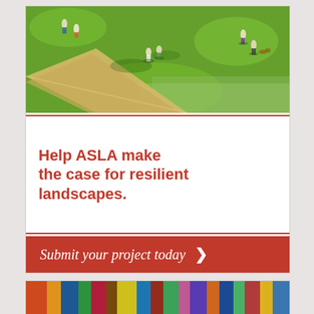[Figure (photo): Aerial view of a green park with people walking on a diagonal sandy path, lush grass and wildflowers visible]
Help ASLA make the case for resilient landscapes.
Submit your project today >
[Figure (photo): Colorful strip of book spines or similar multi-colored imagery at the bottom]